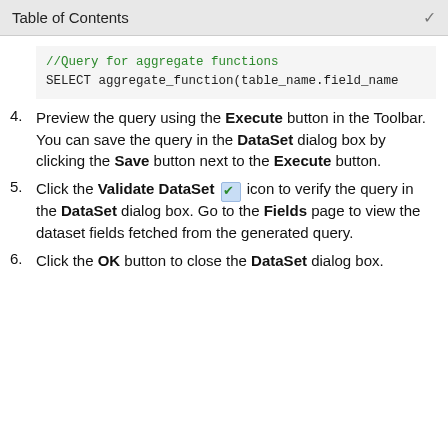Table of Contents
//Query for aggregate functions
SELECT aggregate_function(table_name.field_name
4. Preview the query using the Execute button in the Toolbar. You can save the query in the DataSet dialog box by clicking the Save button next to the Execute button.
5. Click the Validate DataSet [icon] icon to verify the query in the DataSet dialog box. Go to the Fields page to view the dataset fields fetched from the generated query.
6. Click the OK button to close the DataSet dialog box.